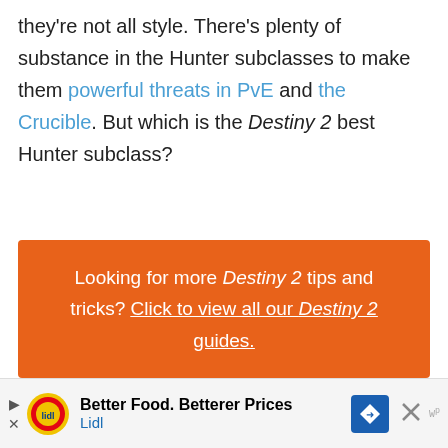they're not all style. There's plenty of substance in the Hunter subclasses to make them powerful threats in PvE and the Crucible. But which is the Destiny 2 best Hunter subclass?
Looking for more Destiny 2 tips and tricks? Click to view all our Destiny 2 guides.
Every Hunter Subclass Ranked
Like the Titan and Warlock, the Hunter has some
[Figure (other): Advertisement banner for Lidl: Better Food. Betterer Prices]